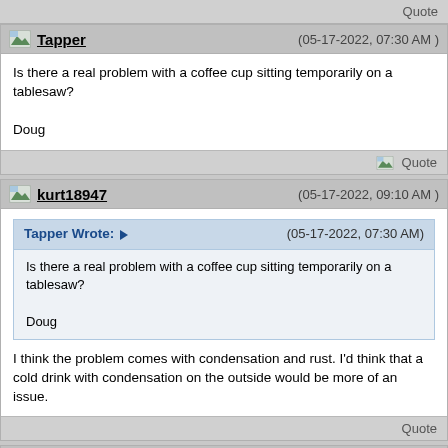Quote
Tapper (05-17-2022, 07:30 AM)
Is there a real problem with a coffee cup sitting temporarily on a tablesaw?

Doug
Quote
kurt18947 (05-17-2022, 09:10 AM)
Tapper Wrote: (05-17-2022, 07:30 AM)
Is there a real problem with a coffee cup sitting temporarily on a tablesaw?

Doug
I think the problem comes with condensation and rust. I'd think that a cold drink with condensation on the outside would be more of an issue.
Quote
greenacres2 (05-17-2022, 09:18 AM)